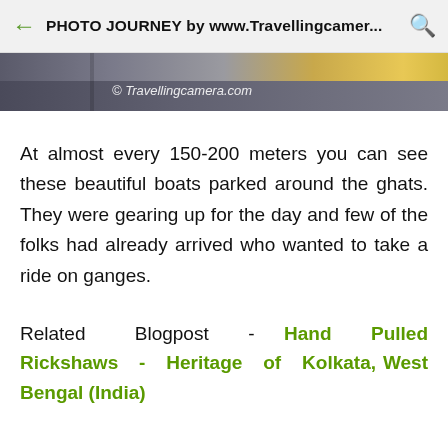PHOTO JOURNEY by www.Travellingcamer...
[Figure (photo): Partial view of a river/ghat scene with watermark '© Travellingcamera.com']
At almost every 150-200 meters you can see these beautiful boats parked around the ghats. They were gearing up for the day and few of the folks had already arrived who wanted to take a ride on ganges.
Related Blogpost - Hand Pulled Rickshaws - Heritage of Kolkata, West Bengal (India)